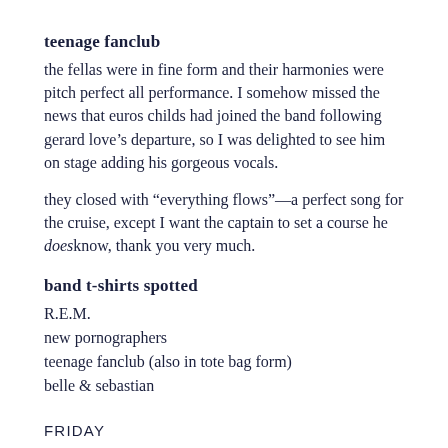teenage fanclub
the fellas were in fine form and their harmonies were pitch perfect all performance. I somehow missed the news that euros childs had joined the band following gerard love’s departure, so I was delighted to see him on stage adding his gorgeous vocals.
they closed with “everything flows”—a perfect song for the cruise, except I want the captain to set a course he doesknow, thank you very much.
band t-shirts spotted
R.E.M.
new pornographers
teenage fanclub (also in tote bag form)
belle & sebastian
FRIDAY